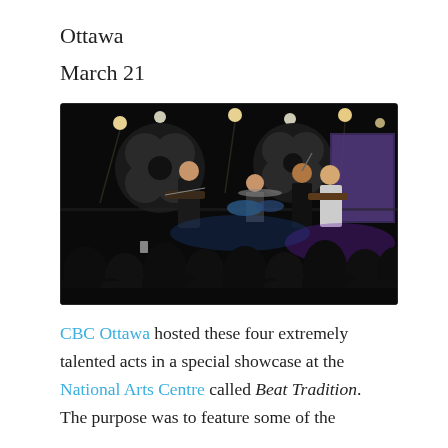Ottawa
March 21
[Figure (photo): Band performing on a dark stage with CBC logos in the background, musicians playing guitars and drums, singers on stage, audience silhouettes in foreground, purple stage lighting]
CBC Ottawa hosted these four extremely talented acts in a special showcase at the National Arts Centre called Beat Tradition. The purpose was to feature some of the artistic brilliance from the Aboriginal community...